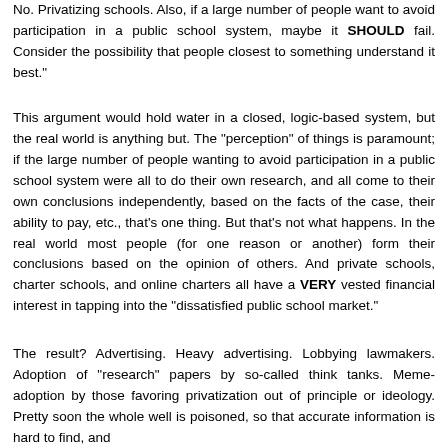No. Privatizing schools. Also, if a large number of people want to avoid participation in a public school system, maybe it SHOULD fail. Consider the possibility that people closest to something understand it best."
This argument would hold water in a closed, logic-based system, but the real world is anything but. The "perception" of things is paramount; if the large number of people wanting to avoid participation in a public school system were all to do their own research, and all come to their own conclusions independently, based on the facts of the case, their ability to pay, etc., that's one thing. But that's not what happens. In the real world most people (for one reason or another) form their conclusions based on the opinion of others. And private schools, charter schools, and online charters all have a VERY vested financial interest in tapping into the "dissatisfied public school market."
The result? Advertising. Heavy advertising. Lobbying lawmakers. Adoption of "research" papers by so-called think tanks. Meme-adoption by those favoring privatization out of principle or ideology. Pretty soon the whole well is poisoned, so that accurate information is hard to find, and